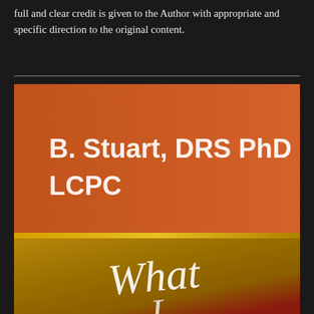full and clear credit is given to the Author with appropriate and specific direction to the original content.
[Figure (illustration): Book cover showing 'B. Stuart, DRS PhD LCPC' in white text on an orange-brown gradient background at the top, and cursive white text reading 'What' and partially visible cursive text below, over a dark gold-to-red gradient background.]